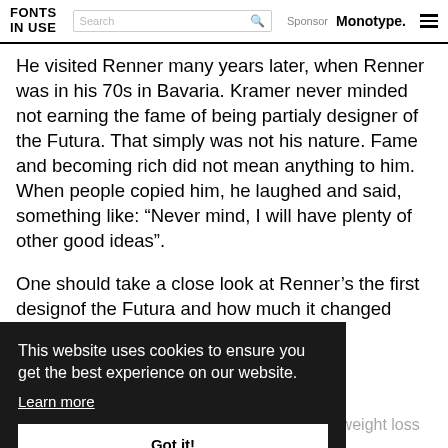FONTS IN USE | Search | Sponsor Monotype.
He visited Renner many years later, when Renner was in his 70s in Bavaria. Kramer never minded not earning the fame of being partialy designer of the Futura. That simply was not his nature. Fame and becoming rich did not mean anything to him. When people copied him, he laughed and said, something like: “Never mind, I will have plenty of other good ideas”.
One should take a close look at Renner’s the first designof the Futura and how much it changed later on!
Ed Benqvist, May 8th, 2019, 4:43 am
AUHAUS CAME TO
two weights of a Bauhaus font for Methical (A weight loss product.) It was
This website uses cookies to ensure you get the best experience on our website. Learn more
Got it!